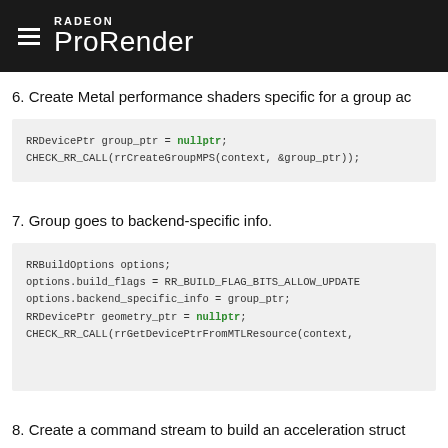RADEON ProRender
6. Create Metal performance shaders specific for a group ac
RRDevicePtr group_ptr = nullptr;
CHECK_RR_CALL(rrCreateGroupMPS(context, &group_ptr));
7. Group goes to backend-specific info.
RRBuildOptions options;
options.build_flags = RR_BUILD_FLAG_BITS_ALLOW_UPDATE
options.backend_specific_info = group_ptr;
RRDevicePtr geometry_ptr = nullptr;
CHECK_RR_CALL(rrGetDevicePtrFromMTLResource(context,
8. Create a command stream to build an acceleration struct
RRCommandStream build_geom_command_stream = nullptr;